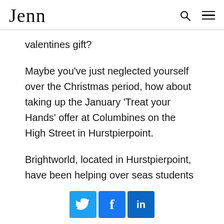Jenn
valentines gift?
Maybe you’ve just neglected yourself over the Christmas period, how about taking up the January ‘Treat your Hands’ offer at Columbines on the High Street in Hurstpierpoint.
Brightworld, located in Hurstpierpoint, have been helping over seas students find the
[Figure (other): Social media share buttons: Twitter, Facebook, LinkedIn]